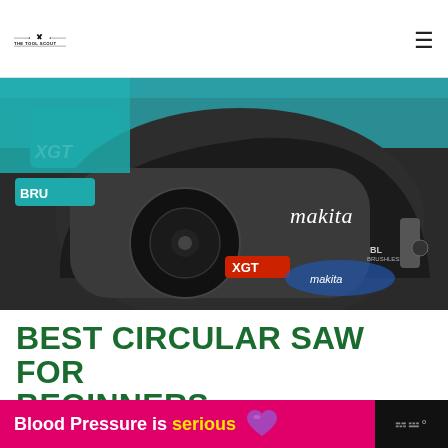THE TOOL SCOUT
[Figure (photo): Close-up photo of a Makita XGT cordless circular saw with teal and black housing, brushless motor label, showing the blade guard and blade. The saw has 'makita' branding in white italic text and 'XGT' label in red.]
BEST CIRCULAR SAW FOR BEGINNERS
[Figure (infographic): Pink advertisement banner reading 'Blood Pressure is serious' with a purple heart emoji graphic, followed by a dark segment with a weather/app icon.]